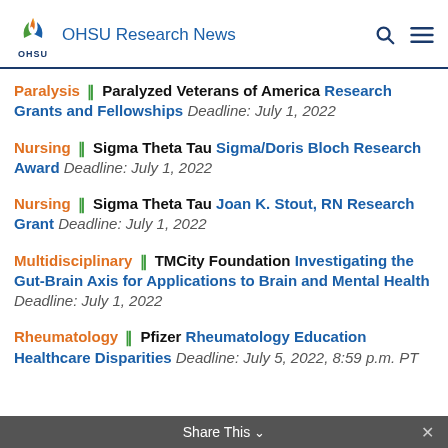OHSU Research News
Paralysis || Paralyzed Veterans of America Research Grants and Fellowships Deadline: July 1, 2022
Nursing || Sigma Theta Tau Sigma/Doris Bloch Research Award Deadline: July 1, 2022
Nursing || Sigma Theta Tau Joan K. Stout, RN Research Grant Deadline: July 1, 2022
Multidisciplinary || TMCity Foundation Investigating the Gut-Brain Axis for Applications to Brain and Mental Health Deadline: July 1, 2022
Rheumatology || Pfizer Rheumatology Education Healthcare Disparities Deadline: July 5, 2022, 8:59 p.m. PT